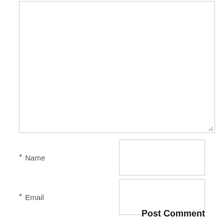[Figure (screenshot): Comment form with textarea, name/email/website fields, notify checkboxes, and Post Comment button]
Name
Email
Website
Notify me of follow-up comments by email.
Notify me of new posts by email.
Post Comment